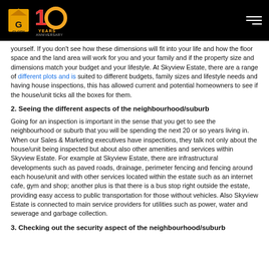Glory 10 Years Anniversary — navigation header
yourself. If you don't see how these dimensions will fit into your life and how the floor space and the land area will work for you and your family and if the property size and dimensions match your budget and your lifestyle. At Skyview Estate, there are a range of different plots and is suited to different budgets, family sizes and lifestyle needs and having house inspections, this has allowed current and potential homeowners to see if the house/unit ticks all the boxes for them.
2. Seeing the different aspects of the neighbourhood/suburb
Going for an inspection is important in the sense that you get to see the neighbourhood or suburb that you will be spending the next 20 or so years living in. When our Sales & Marketing executives have inspections, they talk not only about the house/unit being inspected but about also other amenities and services within Skyview Estate. For example at Skyview Estate, there are infrastructural developments such as paved roads, drainage, perimeter fencing and fencing around each house/unit and with other services located within the estate such as an internet cafe, gym and shop; another plus is that there is a bus stop right outside the estate, providing easy access to public transportation for those without vehicles. Also Skyview Estate is connected to main service providers for utilities such as power, water and sewerage and garbage collection.
3. Checking out the security aspect of the neighbourhood/suburb